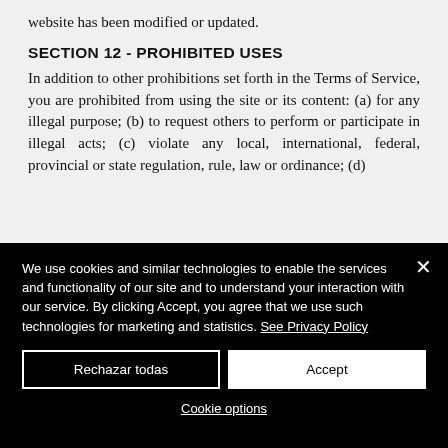website has been modified or updated.
SECTION 12 - PROHIBITED USES
In addition to other prohibitions set forth in the Terms of Service, you are prohibited from using the site or its content: (a) for any illegal purpose; (b) to request others to perform or participate in illegal acts; (c) violate any local, international, federal, provincial or state regulation, rule, law or ordinance; (d)
We use cookies and similar technologies to enable the services and functionality of our site and to understand your interaction with our service. By clicking Accept, you agree that we use such technologies for marketing and statistics. See Privacy Policy
Rechazar todas
Accept
Cookie options